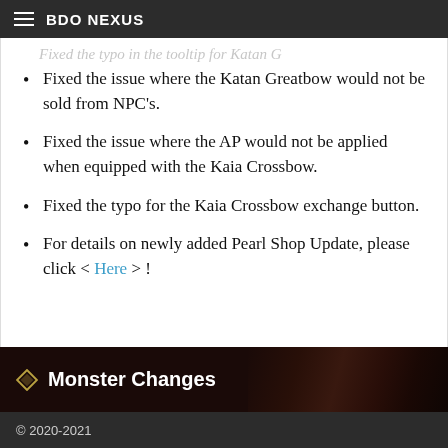BDO NEXUS
Fixed the issue where the Katan Greatbow would not be sold from NPC's.
Fixed the issue where the AP would not be applied when equipped with the Kaia Crossbow.
Fixed the typo for the Kaia Crossbow exchange button.
For details on newly added Pearl Shop Update, please click < Here > !
Monster Changes
© 2020-2021